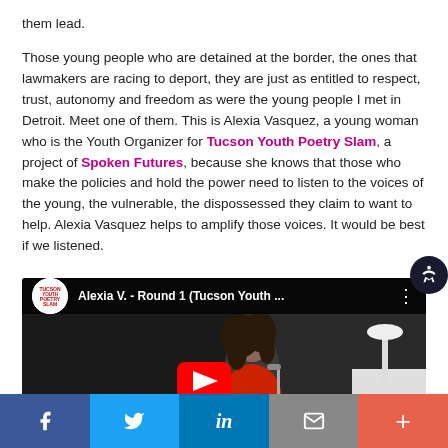them lead.

Those young people who are detained at the border, the ones that lawmakers are racing to deport, they are just as entitled to respect, trust, autonomy and freedom as were the young people I met in Detroit. Meet one of them. This is Alexia Vasquez, a young woman who is the Youth Organizer for Tucson Youth Poetry Slam, a project of Spoken Futures, because she knows that those who make the policies and hold the power need to listen to the voices of the young, the vulnerable, the dispossessed they claim to want to help. Alexia Vasquez helps to amplify those voices. It would be best if we listened.
[Figure (screenshot): YouTube video thumbnail showing Alexia V. - Round 1 (Tucson Youth ... with a young woman at a microphone on a dark stage]
Social share bar: Facebook, Twitter, LinkedIn, Email, More